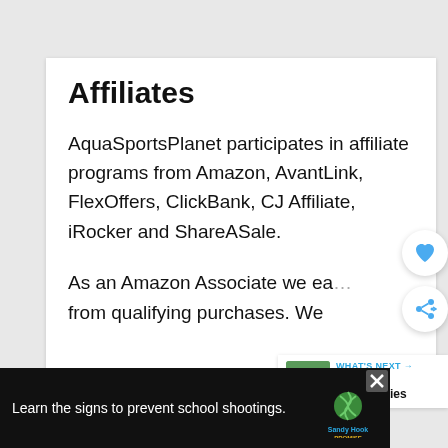Affiliates
AquaSportsPlanet participates in affiliate programs from Amazon, AvantLink, FlexOffers, ClickBank, CJ Affiliate, iRocker and ShareASale.
As an Amazon Associate we earn from qualifying purchases. We
[Figure (infographic): Blue circular heart/like button and blue circular share button on right side of page]
[Figure (infographic): What's Next panel with PWC Accessories thumbnail]
[Figure (infographic): Advertisement banner: Learn the signs to prevent school shootings. Sandy Hook Promise logo. Close button.]